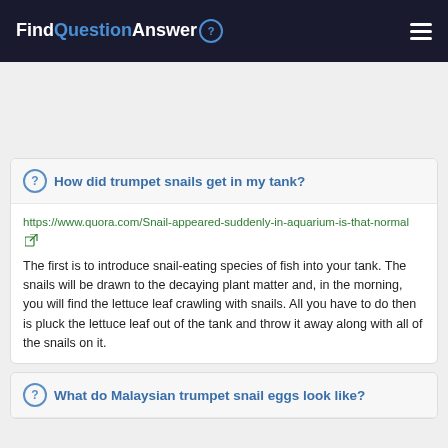FindQuestionAnswer
How did trumpet snails get in my tank?
https://www.quora.com/Snail-appeared-suddenly-in-aquarium-is-that-normal
The first is to introduce snail-eating species of fish into your tank. The snails will be drawn to the decaying plant matter and, in the morning, you will find the lettuce leaf crawling with snails. All you have to do then is pluck the lettuce leaf out of the tank and throw it away along with all of the snails on it.
What do Malaysian trumpet snail eggs look like?